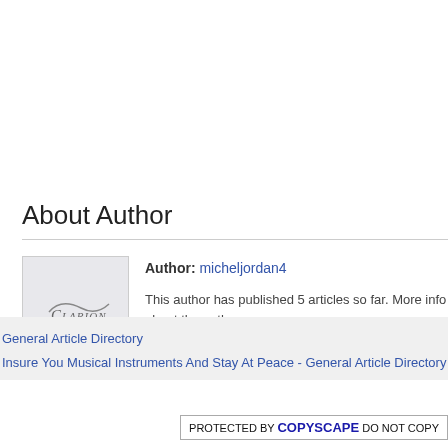About Author
[Figure (logo): Clarion logo in a light gray square box]
Author: micheljordan4
This author has published 5 articles so far. More info about the author
General Article Directory
Insure You Musical Instruments And Stay At Peace - General Article Directory
PROTECTED BY COPYSCAPE DO NOT COPY